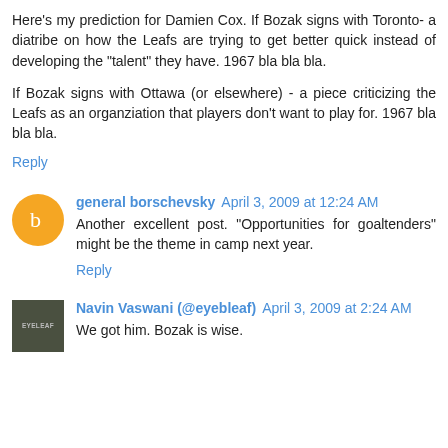Here's my prediction for Damien Cox. If Bozak signs with Toronto- a diatribe on how the Leafs are trying to get better quick instead of developing the "talent" they have. 1967 bla bla bla.
If Bozak signs with Ottawa (or elsewhere) - a piece criticizing the Leafs as an organziation that players don't want to play for. 1967 bla bla bla.
Reply
general borschevsky April 3, 2009 at 12:24 AM
Another excellent post. "Opportunities for goaltenders" might be the theme in camp next year.
Reply
Navin Vaswani (@eyebleaf) April 3, 2009 at 2:24 AM
We got him. Bozak is wise.